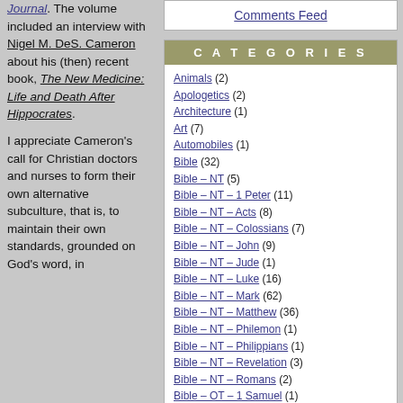Journal. The volume included an interview with Nigel M. DeS. Cameron about his (then) recent book, The New Medicine: Life and Death After Hippocrates.
I appreciate Cameron's call for Christian doctors and nurses to form their own alternative subculture, that is, to maintain their own standards, grounded on God's word, in
Comments Feed
CATEGORIES
Animals (2)
Apologetics (2)
Architecture (1)
Art (7)
Automobiles (1)
Bible (32)
Bible – NT (5)
Bible – NT – 1 Peter (11)
Bible – NT – Acts (8)
Bible – NT – Colossians (7)
Bible – NT – John (9)
Bible – NT – Jude (1)
Bible – NT – Luke (16)
Bible – NT – Mark (62)
Bible – NT – Matthew (36)
Bible – NT – Philemon (1)
Bible – NT – Philippians (1)
Bible – NT – Revelation (3)
Bible – NT – Romans (2)
Bible – OT – 1 Samuel (1)
Bible – OT – Daniel (2)
Bible – OT – Deuteronomy (4)
Bible – OT – Ecclesiastes (1)
Bible – OT – Exodus (9)